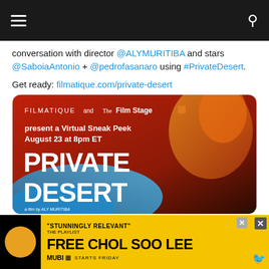Navigation bar with hamburger menu and search icon
conversation with director @ALYMURITIBA and stars @SaboiaAntonio + @pedrofasanaro using #PrivateDesert.
Get ready: filmatique.com/private-desert
[Figure (photo): Movie promotional image for 'Private Desert' by Aly Muritiba, presented by Filmatique and The Film Stage as a Virtual Sneak Peek on August 23 at 8pm ET]
The Film Stage 🎬 and 4 others
💬  ♡ 15
[Figure (screenshot): Advertisement for MUBI's 'Free Chol Soo Lee' with yellow background. Text: 'STUNNINGLY RELEVANT' - THE PLAYLIST. FREE CHOL SOO LEE. MUBI. STARTS FRIDAY.]